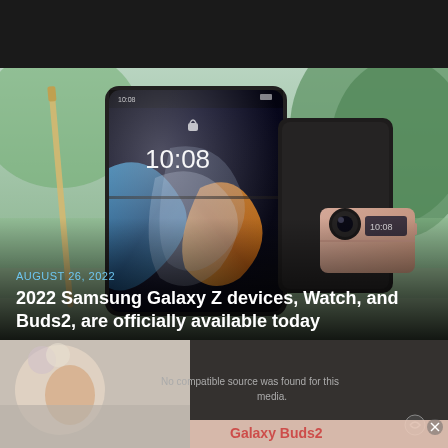[Figure (photo): Top dark header bar area of a webpage]
[Figure (photo): Samsung Galaxy Z Fold 4 and Z Flip 4 phones displayed against outdoor green blurred background. Shows the opened Z Fold 4 with a colorful abstract wallpaper showing '10:08', and a closed Z Flip4 in rose gold color.]
AUGUST 26, 2022
2022 Samsung Galaxy Z devices, Watch, and Buds2, are officially available today
[Figure (screenshot): Partial view of a secondary media element with error message 'No compatible source was found for this media.' and a partially visible advertisement or image with 'Galaxy Buds2' text and an X close button.]